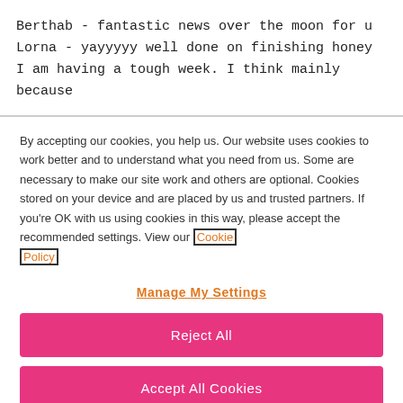Berthab - fantastic news over the moon for u
Lorna - yayyyyy well done on finishing honey
I am having a tough week. I think mainly because
By accepting our cookies, you help us. Our website uses cookies to work better and to understand what you need from us. Some are necessary to make our site work and others are optional. Cookies stored on your device and are placed by us and trusted partners. If you're OK with us using cookies in this way, please accept the recommended settings. View our Cookie Policy
Manage My Settings
Reject All
Accept All Cookies